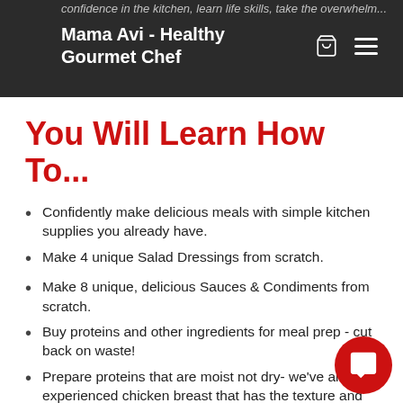confidence in the kitchen, learn life skills, take the overwhelm...
Mama Avi - Healthy Gourmet Chef
You Will Learn How To...
Confidently make delicious meals with simple kitchen supplies you already have.
Make 4 unique Salad Dressings from scratch.
Make 8 unique, delicious Sauces & Condiments from scratch.
Buy proteins and other ingredients for meal prep - cut back on waste!
Prepare proteins that are moist not dry- we've all experienced chicken breast that has the texture and taste of sawdust. Yuck! Never again.
Prepare tender chicken breast
Brown and roast proteins
Make tender & moist meatballs + veggie & salmon